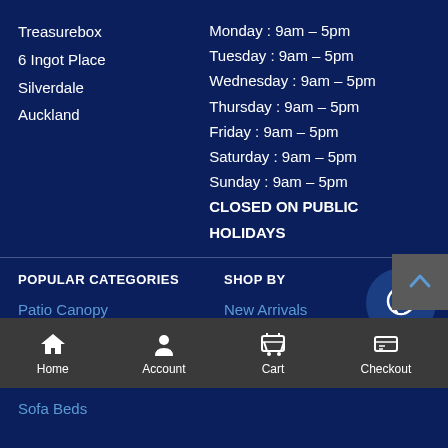Treasurebox
6 Ingot Place
Silverdale
Auckland
Monday: 9am - 5pm
Tuesday: 9am - 5pm
Wednesday: 9am - 5pm
Thursday: 9am - 5pm
Friday: 9am - 5pm
Saturday: 9am - 5pm
Sunday: 9am - 5pm
CLOSED ON PUBLIC HOLIDAYS
POPULAR CATEGORIES
SHOP BY
Patio Canopy
New Arrivals
Desk
Brands
Drawers
Sofa Beds
Home  Account  Cart  Checkout